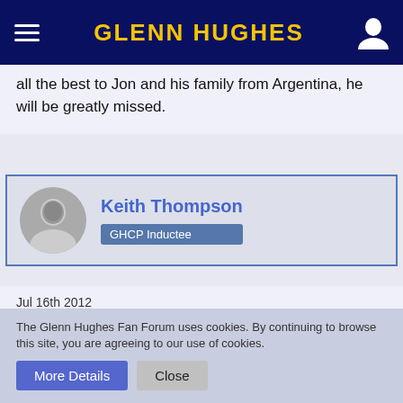GLENN HUGHES
all the best to Jon and his family from Argentina, he will be greatly missed.
Keith Thompson
GHCP Inductee
Jul 16th 2012
Speed King got me into rock. Jon Lord moved me. I am finding it difficult (for once) to find the words to sum up a 40 year regard for an artist who rocked my life.
The Glenn Hughes Fan Forum uses cookies. By continuing to browse this site, you are agreeing to our use of cookies.
More Details  Close